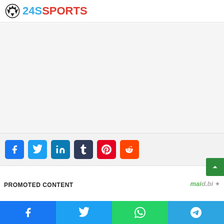[Figure (logo): 24SSPORTS logo with soccer ball icon, '24S' in blue and 'SPORTS' in red]
[Figure (other): Advertisement/content area (blank white/light gray box)]
[Figure (infographic): Social share buttons: Facebook (blue), Twitter (light blue), LinkedIn (dark blue), Tumblr (dark navy), Pinterest (red), Reddit (orange-red)]
PROMOTED CONTENT
[Figure (logo): Maid.bi logo (green and gray italic text)]
[Figure (infographic): Bottom social share bar: Facebook (blue), Twitter (light blue), WhatsApp (green), Telegram (sky blue)]